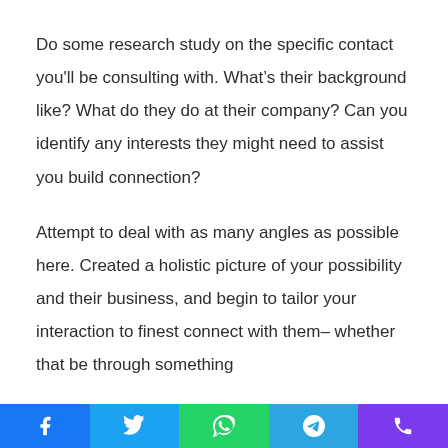Do some research study on the specific contact you'll be consulting with. What's their background like? What do they do at their company? Can you identify any interests they might need to assist you build connection?
Attempt to deal with as many angles as possible here. Created a holistic picture of your possibility and their business, and begin to tailor your interaction to finest connect with them– whether that be through something
Facebook | Twitter | WhatsApp | Telegram | Phone